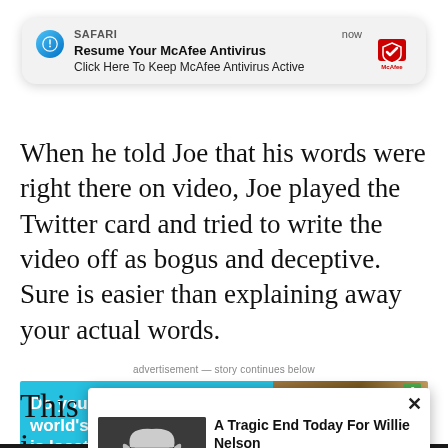[Figure (screenshot): Safari iOS notification popup for McAfee Antivirus with title 'Resume Your McAfee Antivirus' and body 'Click Here To Keep McAfee Antivirus Active']
When he told Joe that his words were right there on video, Joe played the Twitter card and tried to write the video off as bogus and deceptive. Sure is easier than explaining away your actual words.
advertisement — story continues below
[Figure (infographic): Advertisement banner: 'Do you know where the world's largest ball of twine is located?' with cyan background and image of large ball of twine]
[Figure (screenshot): Popup advertisement: 'A Tragic End Today For Willie Nelson' with photo of Willie Nelson and 'Breaking News' label]
This i... inten... ing